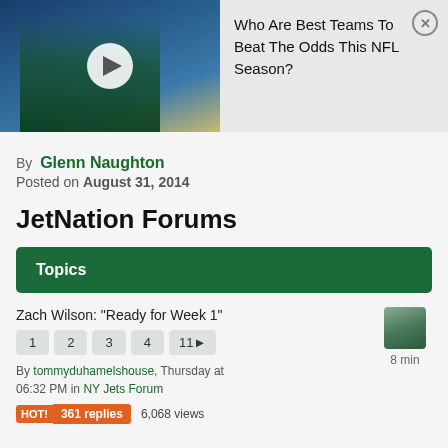[Figure (screenshot): NFL quarterback throwing a football, advertisement for 'Who Are Best Teams To Beat The Odds This NFL Season?' with a close button]
Who Are Best Teams To Beat The Odds This NFL Season?
By Glenn Naughton
Posted on August 31, 2014
JetNation Forums
Topics
Zach Wilson: "Ready for Week 1"
1 2 3 4 11▶ 8 min
By tommyduhamelshouse, Thursday at 06:32 PM in NY Jets Forum
HOT! 361 replies 6,068 views